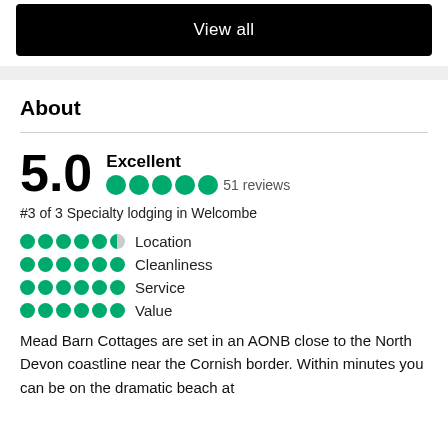There are similar hotels available.
View all
About
5.0 Excellent 51 reviews
#3 of 3 Specialty lodging in Welcombe
Location
Cleanliness
Service
Value
Mead Barn Cottages are set in an AONB close to the North Devon coastline near the Cornish border. Within minutes you can be on the dramatic beach at